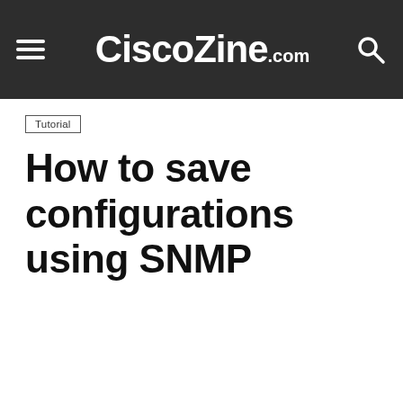CiscoZine.com
Tutorial
How to save configurations using SNMP